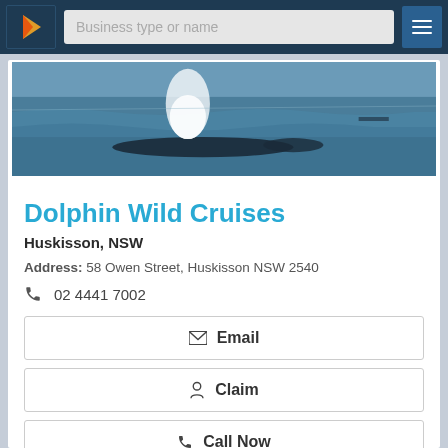Business type or name
[Figure (photo): Ocean scene with a whale or marine animal visible at the surface with a water spout/spray plume]
Dolphin Wild Cruises
Huskisson, NSW
Address: 58 Owen Street, Huskisson NSW 2540
02 4441 7002
Email
Claim
Call Now